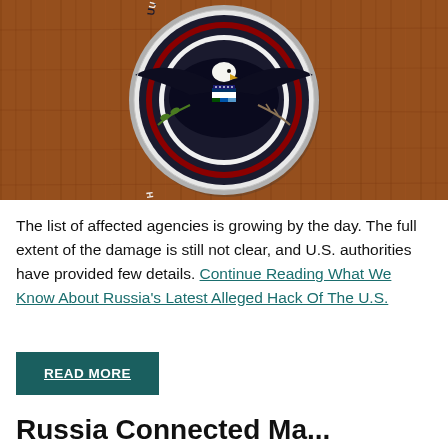[Figure (photo): Photo of the U.S. Department of Homeland Security official seal mounted on a wooden wall. The seal features a bald eagle with wings spread, holding an olive branch and arrows, with a shield on its chest. The circular seal reads 'U.S. DEPARTMENT OF HOMELAND SECURITY' around the border.]
The list of affected agencies is growing by the day. The full extent of the damage is still not clear, and U.S. authorities have provided few details. Continue Reading What We Know About Russia's Latest Alleged Hack Of The U.S.
READ MORE
Russia Connected Hack...